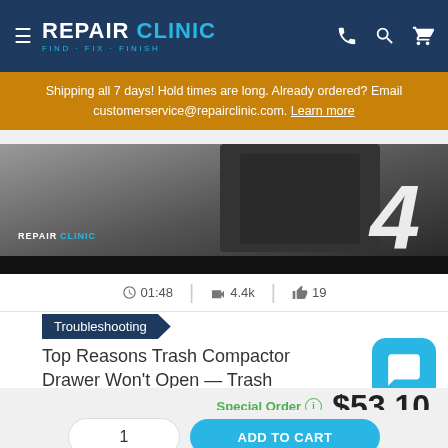[Figure (screenshot): RepairClinic website header with logo, hamburger menu, phone, search, and cart icons on dark navy background]
Shipping all 7 days! Hold times are long. Already ordered? Email customerservice@repairclinic.com. Learn more
[Figure (screenshot): Partial video thumbnail showing a trash compactor with large number 4 and RepairClinic branding]
01:48  |  4.4k  |  19
Troubleshooting
Top Reasons Trash Compactor Drawer Won't Open — Trash
Special Order  $53.10
PayPal Pay in 4 interest-free payments of $13.28. Learn more
1
ADD TO CART